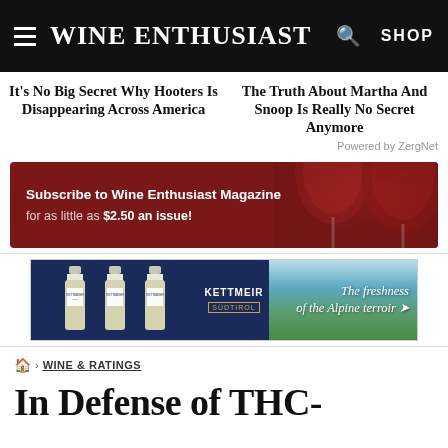Wine Enthusiast
It's No Big Secret Why Hooters Is Disappearing Across America
The Truth About Martha And Snoop Is Really No Secret Anymore
Powered by ZergNet
[Figure (infographic): Wine Enthusiast subscription ad banner: dark red background with wine glass silhouette, text 'Subscribe to Wine Enthusiast Magazine for as little as $2.50 an issue!']
[Figure (infographic): Kettmeier wine advertisement banner showing three white wine bottles against navy background with Alpine landscape and tagline 'The freshness of the Alpine terroir']
⌂ > WINE & RATINGS
In Defense of THC-